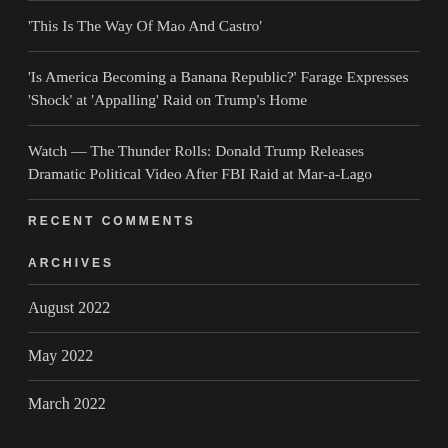‘This Is The Way Of Mao And Castro’
‘Is America Becoming a Banana Republic?’ Farage Expresses ‘Shock’ at ‘Appalling’ Raid on Trump’s Home
Watch — The Thunder Rolls: Donald Trump Releases Dramatic Political Video After FBI Raid at Mar-a-Lago
RECENT COMMENTS
ARCHIVES
August 2022
May 2022
March 2022